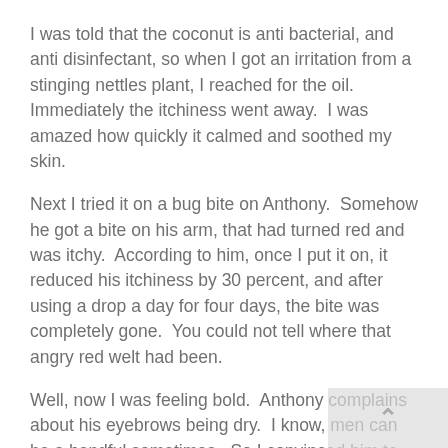I was told that the coconut is anti bacterial, and anti disinfectant, so when I got an irritation from a stinging nettles plant, I reached for the oil.  Immediately the itchiness went away.  I was amazed how quickly it calmed and soothed my skin.
Next I tried it on a bug bite on Anthony.  Somehow he got a bite on his arm, that had turned red and was itchy.  According to him, once I put it on, it reduced his itchiness by 30 percent, and after using a drop a day for four days, the bite was completely gone.  You could not tell where that angry red welt had been.
Well, now I was feeling bold.  Anthony complains about his eyebrows being dry.  I know, men can be a handful sometimes.  So I convinced him to put a drop on his problem area, based on the fact that these are all natural ingredients, and should not clog his pores or cause him to breakout.  After a couple of hours he came back and said skin is moist, and he is going to let Nicole wax his eyebrows, so another successful use for the oils.